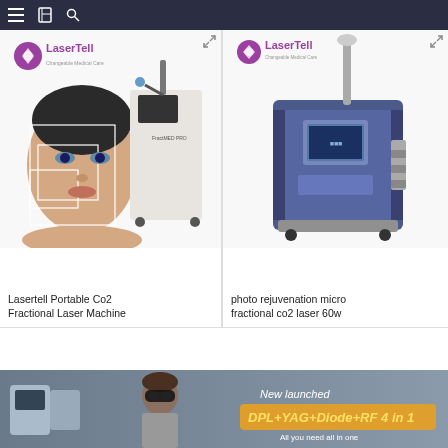Navigation bar with menu, bookmark, and search icons
[Figure (photo): LaserTell Portable Co2 Fractional Laser Machine — product card showing a woman's face with detection boxes and a laser machine unit, with LaserTell logo]
Lasertell Portable Co2 Fractional Laser Machine
[Figure (photo): Photo rejuvenation micro fractional co2 laser 60w — product card showing a blue and grey laser machine unit on wheels, with LaserTell logo]
photo rejuvenation micro fractional co2 laser 60w
[Figure (photo): Banner advertisement: New launched DPL+YAG+Diode+RF 4 in 1 — showing a technician with laser goggles and equipment]